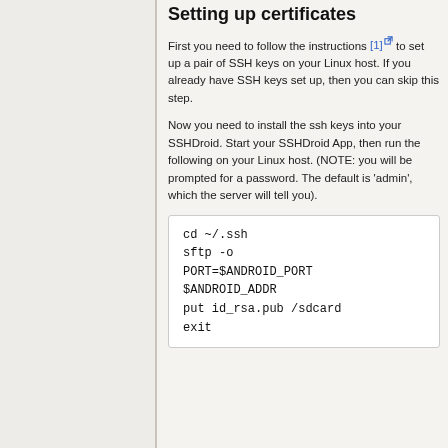Setting up certificates
First you need to follow the instructions [1] to set up a pair of SSH keys on your Linux host. If you already have SSH keys set up, then you can skip this step.
Now you need to install the ssh keys into your SSHDroid. Start your SSHDroid App, then run the following on your Linux host. (NOTE: you will be prompted for a password. The default is 'admin', which the server will tell you).
cd ~/.ssh
sftp -o
PORT=$ANDROID_PORT
$ANDROID_ADDR
put id_rsa.pub /sdcard
exit